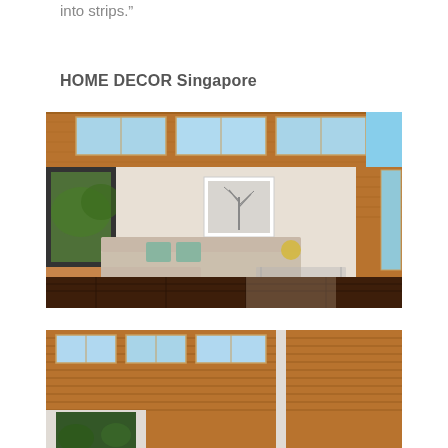into strips.”
HOME DECOR Singapore
[Figure (photo): Interior of a modern living room with warm wood-paneled walls, clerestory windows letting in natural light, a light beige sectional sofa with teal accent pillows, a framed black-and-white tree artwork on the wall, and dark hardwood floors.]
[Figure (photo): Exterior or semi-exterior view of a modern house with horizontal wood cladding siding, large windows, and lush greenery visible through the openings.]